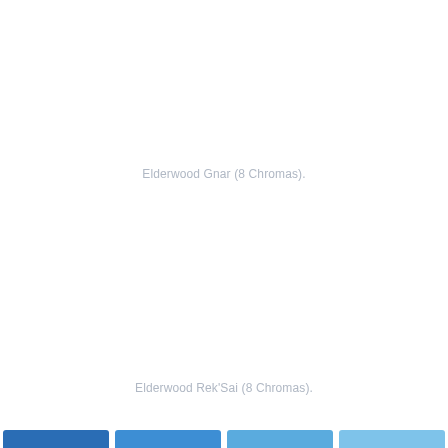Elderwood Gnar (8 Chromas).
Elderwood Rek'Sai (8 Chromas).